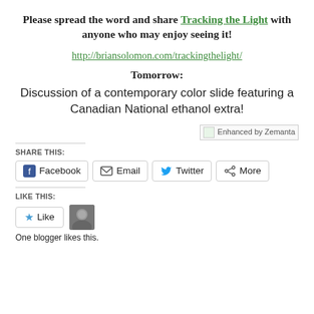Please spread the word and share Tracking the Light with anyone who may enjoy seeing it!
http://briansolomon.com/trackingthelight/
Tomorrow:
Discussion of a contemporary color slide featuring a Canadian National ethanol extra!
[Figure (other): Enhanced by Zemanta badge/image]
SHARE THIS:
Facebook  Email  Twitter  More
LIKE THIS:
Like  [avatar]  One blogger likes this.